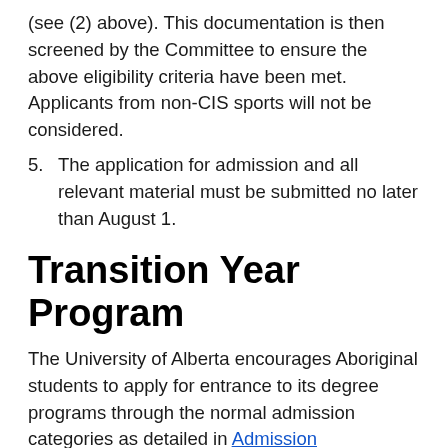(see (2) above). This documentation is then screened by the Committee to ensure the above eligibility criteria have been met. Applicants from non-CIS sports will not be considered.
5. The application for admission and all relevant material must be submitted no later than August 1.
Transition Year Program
The University of Alberta encourages Aboriginal students to apply for entrance to its degree programs through the normal admission categories as detailed in Admission Requirements by Faculty. Prospective students